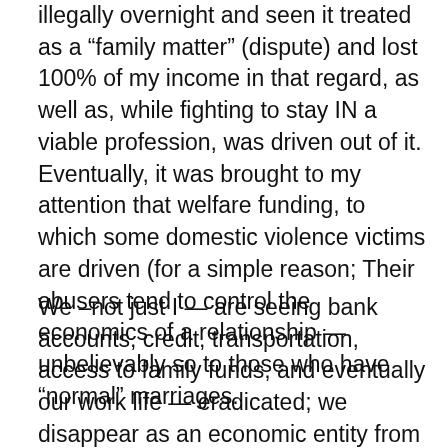illegally overnight and seen it treated as a “family matter” (dispute) and lost 100% of my income in that regard, as well as, while fighting to stay IN a viable profession, was driven out of it. Eventually, it was brought to my attention that welfare funding, to which some domestic violence victims are driven (for a simple reason; Their abusers tend to control the economics of a relationship — unbelievably so to those who have “normal” marriages.
We –not just I — are seeing bank accounts, credit, transportation, access to family funds, and eventually our work life — eradicated; we disappear as an economic entity from the GNP — while contributing to it by supporting others. This is a horrid situation to be in more than a year — but thanks to the collaboration of nonprofits, private money, federal money, and major structural changes in government (particularly the courts) — there is